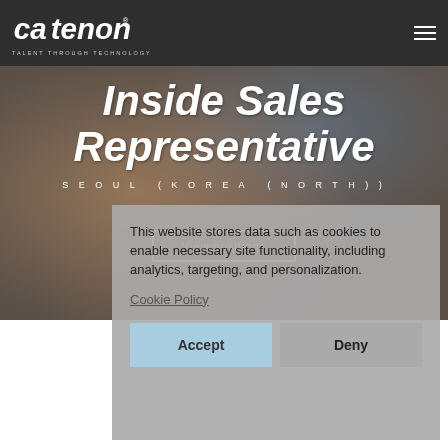CATENON — TALENT THROUGH TECHNOLOGY
Inside Sales Representative
SEOUL (KOREA (NORTH))
View positions
This website stores data such as cookies to enable necessary site functionality, including analytics, targeting, and personalization.
Cookie Policy
Accept
Deny